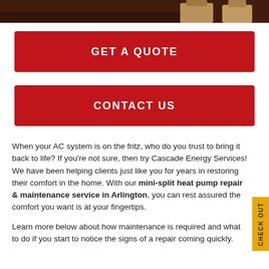[Figure (photo): Partial photo strip showing boots/feet on dark soil background at top of page]
GET A QUOTE
CONTACT US
When your AC system is on the fritz, who do you trust to bring it back to life? If you're not sure, then try Cascade Energy Services! We have been helping clients just like you for years in restoring their comfort in the home. With our mini-split heat pump repair & maintenance service in Arlington, you can rest assured the comfort you want is at your fingertips.
Learn more below about how maintenance is required and what to do if you start to notice the signs of a repair coming quickly.